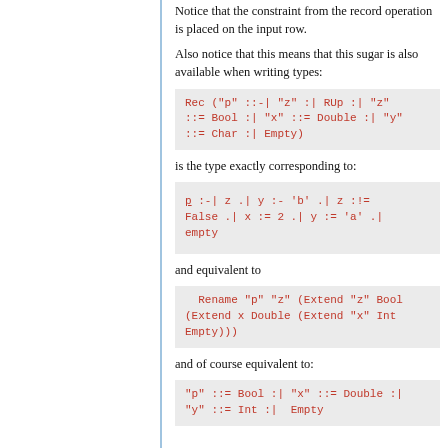Notice that the constraint from the record operation is placed on the input row.
Also notice that this means that this sugar is also available when writing types:
Rec ("p" ::<-| "z" :| RUp :| "z" ::= Bool :| "x" ::= Double :| "y" ::= Char :| Empty)
is the type exactly corresponding to:
p :<-| z .| y :<- 'b' .| z :!= False .| x := 2 .| y := 'a' .| empty
and equivalent to
Rename "p" "z" (Extend "z" Bool (Extend x Double (Extend "x" Int Empty)))
and of course equivalent to:
"p" ::= Bool :| "x" ::= Double :| "y" ::= Int :|  Empty